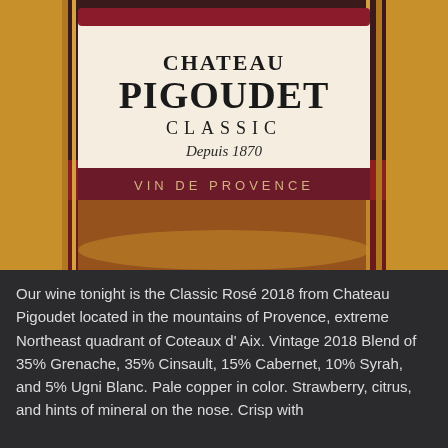[Figure (photo): Close-up photograph of a Chateau Pigoudet Classic wine bottle label on a red background. The label reads 'CHATEAU PIGOUDET' in large serif letters, 'CLASSIC' in spaced capitals, 'Depuis 1870' in script, and 'VIN DE PROVENCE' on a burgundy band at the bottom.]
Our wine tonight is the Classic Rosé 2018 from Chateau Pigoudet located in the mountains of Provence, extreme Northeast quadrant of Coteaux d' Aix.  Vintage 2018 Blend of 35% Grenache, 35% Cinsault, 15% Cabernet, 10% Syrah, and 5% Ugni Blanc.  Pale copper in color. Strawberry, citrus, and hints of mineral on the nose. Crisp with